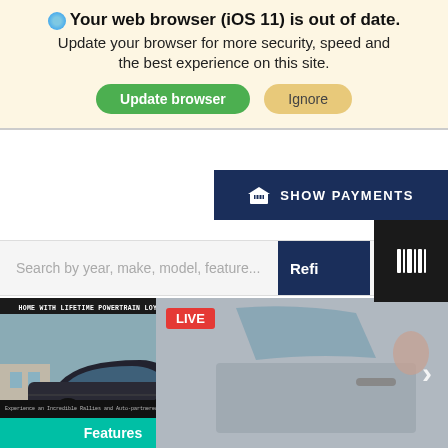Your web browser (iOS 11) is out of date. Update your browser for more security, speed and the best experience on this site.
Update browser | Ignore
SHOW PAYMENTS
Search by year, make, model, feature...
Refi
[Figure (screenshot): LIVE badge overlay on car image with arrow]
[Figure (photo): Hyundai Sonata front view, dark colored, outdoor dealership with text HOME WITH LIFETIME POWERTRAIN LOYALTY PROGRAM]
Features
Certified Used 2021
HYUNDAI SONATA L
Stock: H15314-0
Exterior: Black
Interior: Dark Gray/Ca
Location: Suntrup Hyundai S
[Figure (logo): AutoCheck - A part of Experian logo]